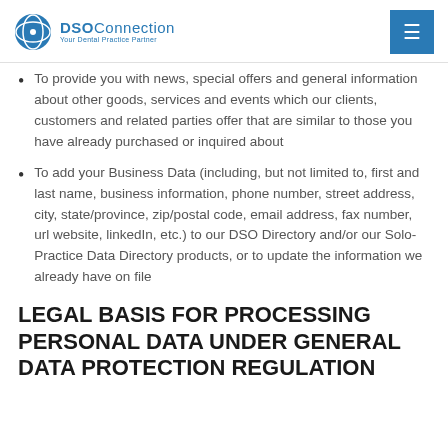DSO Connection — Your Dental Practice Partner
To provide you with news, special offers and general information about other goods, services and events which our clients, customers and related parties offer that are similar to those you have already purchased or inquired about
To add your Business Data (including, but not limited to, first and last name, business information, phone number, street address, city, state/province, zip/postal code, email address, fax number, url website, linkedIn, etc.) to our DSO Directory and/or our Solo-Practice Data Directory products, or to update the information we already have on file
LEGAL BASIS FOR PROCESSING PERSONAL DATA UNDER GENERAL DATA PROTECTION REGULATION